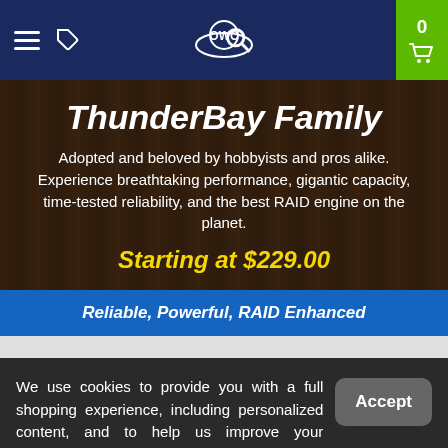[Figure (screenshot): OWC website navigation bar with hamburger menu, tag icon, OWC planet logo, search icon, and green cart button showing 0 items]
ThunderBay Family
Adopted and beloved by hobbyists and pros alike. Experience breathtaking performance, gigantic capacity, time-tested reliability, and the best RAID engine on the planet.
Starting at $229.00
Reliable, Powerful, RAID Enhanced
We use cookies to provide you with a full shopping experience, including personalized content, and to help us improve your experience. Learn more. By continuing to use our site, you accept our use of Cookies, Privacy Policy and Terms of Use.